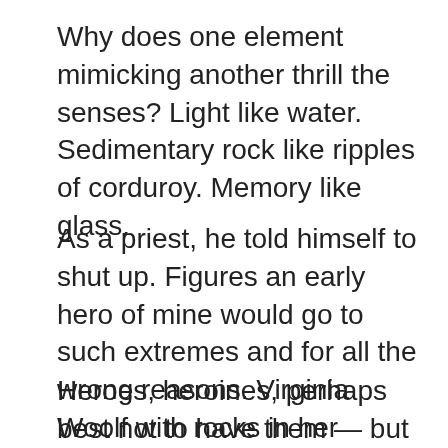Why does one element mimicking another thrill the senses? Light like water. Sedimentary rock like ripples of corduroy. Memory like glass.
As a priest, he told himself to shut up. Figures an early hero of mine would go to such extremes and for all the wrong reasons. Virginia Woolf with rocks in her pockets.
Heroes, heroines, perhaps best not to have them — but how else learn how to write, how not to panic